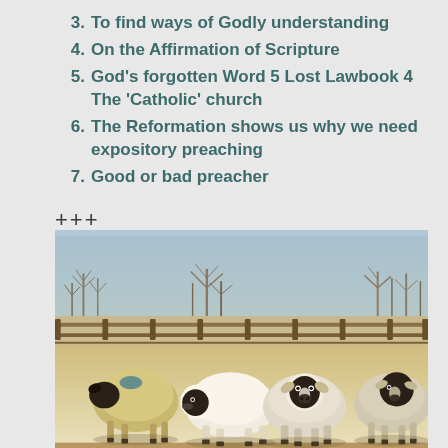3. To find ways of Godly understanding
4. On the Affirmation of Scripture
5. God's forgotten Word 5 Lost Lawbook 4 The 'Catholic' church
6. The Reformation shows us why we need expository preaching
7. Good or bad preacher
+++
[Figure (photo): A group of four sheep with black faces standing in a frosty winter field with bare trees and wooden fencing in the background. One sheep has a blue marking on its back.]